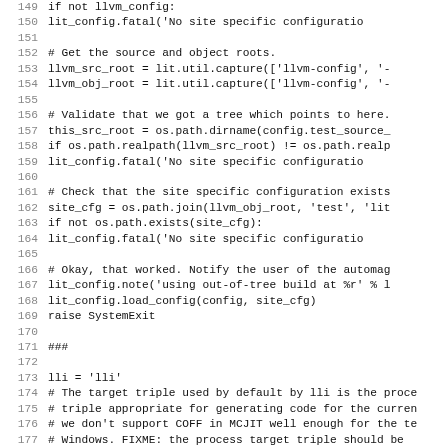Source code listing lines 149-181, Python script with llvm config and lli setup code